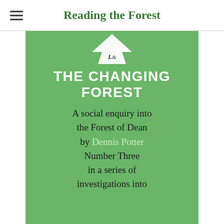Reading the Forest
[Figure (photo): Book cover of 'The Changing Forest' on a green background. Features a small publisher logo at the top, bold white text reading 'THE CHANGING FOREST', followed by dark serif text: 'A social enquiry into the Forest of Dean by Dennis Potter Number Three in a series of investigations into']
THE CHANGING FOREST
A social enquiry into the Forest of Dean by Dennis Potter Number Three in a series of investigations into